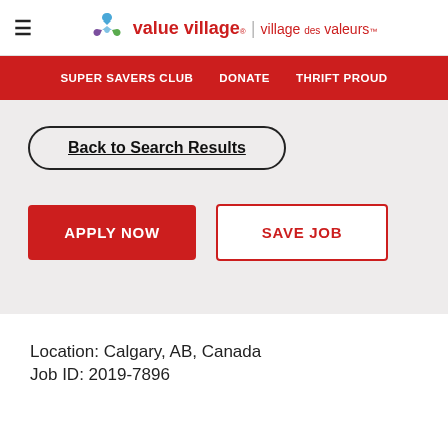≡  value village | village des valeurs
SUPER SAVERS CLUB   DONATE   THRIFT PROUD
Back to Search Results
APPLY NOW
SAVE JOB
Location: Calgary, AB, Canada
Job ID: 2019-7896